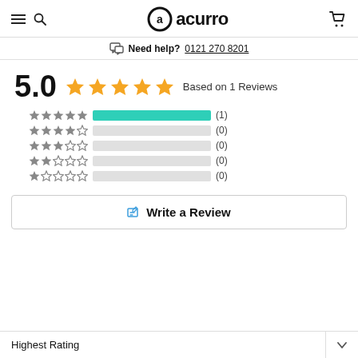acurro — navigation header with hamburger menu, search, logo, and cart icon
Need help? 0121 270 8201
5.0  ★★★★★  Based on 1 Reviews
[Figure (bar-chart): Star rating distribution]
Write a Review
Highest Rating